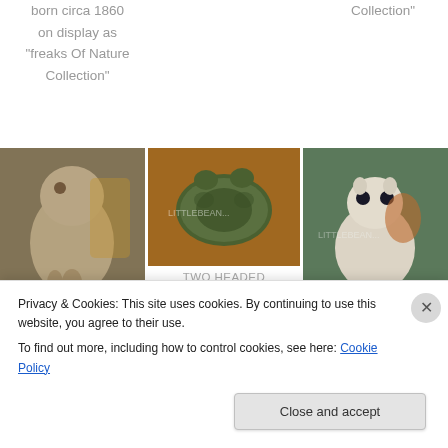born circa 1860 on display as "freaks Of Nature Collection"
Collection"
[Figure (photo): Photo of a taxidermied or preserved animal specimen (possibly a two-headed or deformed lamb/animal), brownish-tan coloring, standing on a surface]
[Figure (photo): Photo of a two-headed terrapin (turtle), green coloring, on a brown/orange background, with watermark LITTLEBEAN...]
TWO HEADED TERRAPIN
[Figure (photo): Photo of a small white and orange animal (possibly a two-headed cat or mutant animal) standing on a green surface, with watermark LITTLEBEAN...]
Privacy & Cookies: This site uses cookies. By continuing to use this website, you agree to their use.
To find out more, including how to control cookies, see here: Cookie Policy
Close and accept